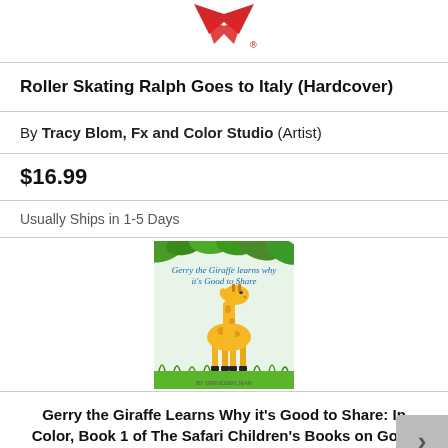[Figure (logo): Red logo/icon at top of page — partially visible, appears to be a stylized arrow or bird shape in red]
Roller Skating Ralph Goes to Italy (Hardcover)
By Tracy Blom, Fx and Color Studio (Artist)
$16.99
Usually Ships in 1-5 Days
[Figure (illustration): Book cover of 'Gerry the Giraffe Learns Why It's Good to Share' showing a cartoon giraffe standing in grass with jungle leaves overhead, with italic blue title text.]
Gerry the Giraffe Learns Why it's Good to Share: In Color, Book 1 of The Safari Children's Books on Good Behavior (Paperback)